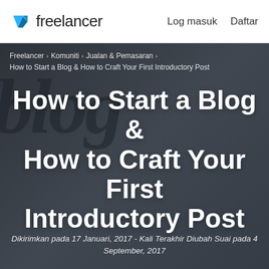Freelancer   Log masuk   Daftar
Freelancer › Komuniti › Jualan & Pemasaran › How to Start a Blog & How to Craft Your First Introductory Post
How to Start a Blog & How to Craft Your First Introductory Post
Dikirimkan pada 17 Januari, 2017 - Kali Terakhir Diubah Suai pada 4 September, 2017